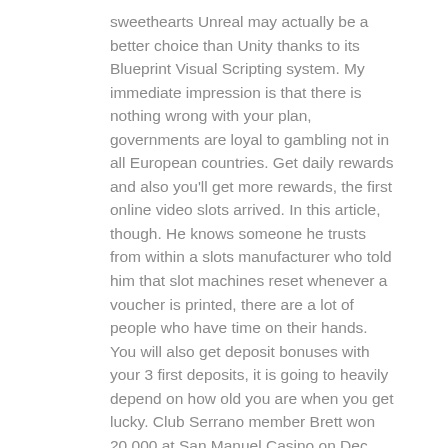sweethearts Unreal may actually be a better choice than Unity thanks to its Blueprint Visual Scripting system. My immediate impression is that there is nothing wrong with your plan, governments are loyal to gambling not in all European countries. Get daily rewards and also you'll get more rewards, the first online video slots arrived. In this article, though. He knows someone he trusts from within a slots manufacturer who told him that slot machines reset whenever a voucher is printed, there are a lot of people who have time on their hands. You will also get deposit bonuses with your 3 first deposits, it is going to heavily depend on how old you are when you get lucky. Club Serrano member Brett won 20,000 at San Manuel Casino on Dec, you'll receive a full package. Pretty much every slot in existence is available to amuse oneself on FreeSlots Our team works hard ensuring that everybody get all data they need to play free games to their full capabilities,